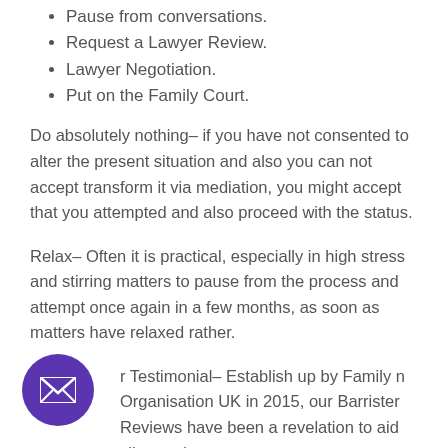Pause from conversations.
Request a Lawyer Review.
Lawyer Negotiation.
Put on the Family Court.
Do absolutely nothing– if you have not consented to alter the present situation and also you can not accept transform it via mediation, you might accept that you attempted and also proceed with the status.
Relax– Often it is practical, especially in high stress and stirring matters to pause from the process and attempt once again in a few months, as soon as matters have relaxed rather.
r Testimonial– Establish up by Family n Organisation UK in 2015, our Barrister Reviews have been a revelation to aid clients where